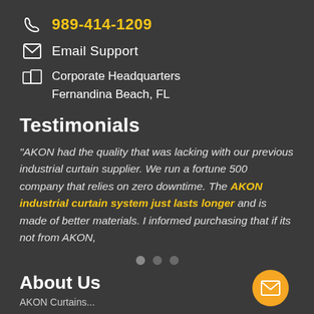989-414-1209
Email Support
Corporate Headquarters
Fernandina Beach, FL
Testimonials
"AKON had the quality that was lacking with our previous industrial curtain supplier. We run a fortune 500 company that relies on zero downtime. The AKON industrial curtain system just lasts longer and is made of better materials. I informed purchasing that if its not from AKON,
About Us
AKON Curtains...